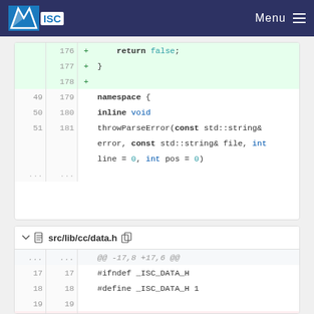ISC | Menu
[Figure (screenshot): Code diff view showing lines 176-181 with added green lines (return false; }) and namespace/inline void throwParseError code]
[Figure (screenshot): Code diff for src/lib/cc/data.h showing removal of #include config.h lines and keeping #include <string> and #include <vector>]